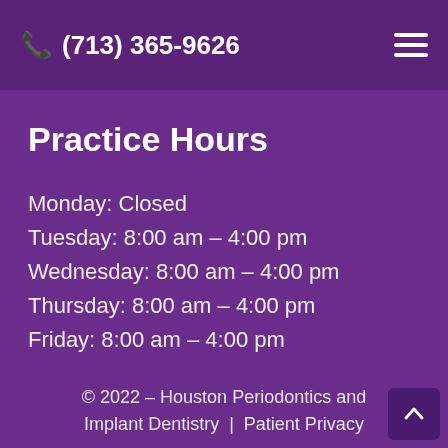📞 (713) 365-9626
Practice Hours
Monday: Closed
Tuesday: 8:00 am – 4:00 pm
Wednesday: 8:00 am – 4:00 pm
Thursday: 8:00 am – 4:00 pm
Friday: 8:00 am – 4:00 pm
© 2022 – Houston Periodontics and Implant Dentistry | Patient Privacy